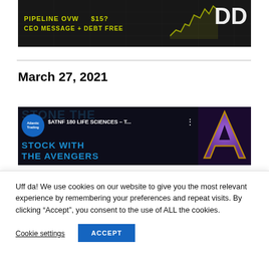[Figure (screenshot): Dark financial banner with yellow-green text reading 'PIPELINE OVW $15?' and 'CEO MESSAGE + DEBT FREE' with large white 'DD' letters and a stock chart overlay]
March 27, 2021
[Figure (screenshot): Atlantic Trading video thumbnail with text '$ATNF 180 LIFE SCIENCES - T...' and 'STOCK WITH THE AVENGERS' on dark background with Avengers logo]
Uff da! We use cookies on our website to give you the most relevant experience by remembering your preferences and repeat visits. By clicking “Accept”, you consent to the use of ALL the cookies.
Cookie settings
ACCEPT